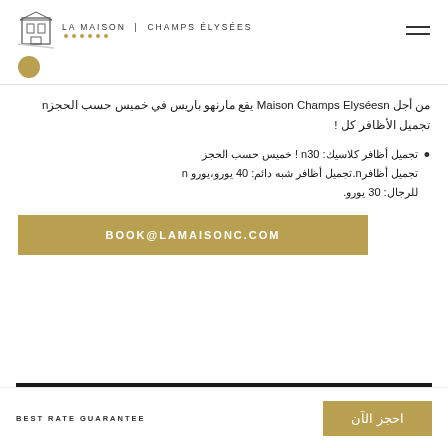LA MAISON | CHAMPS ÉLYSÉES
[Figure (logo): La Maison Champs Élysées logo with building icon and gold dots]
من أجل Maison Champs Elyséesn يقع مارنهو باريس في خميس حسب الحجزn تجميل الأظافر كل !
تجميل أظافر كلاسيك: n30 ! خميس حسب الحجز تجميل أظافرn.تجميل أظافر شبه دائم: 40 يورو،يورو n للرجال: 30 يورو.
BOOK@LAMAISONC.COM
BEST RATE GUARANTEE
احجز الآن